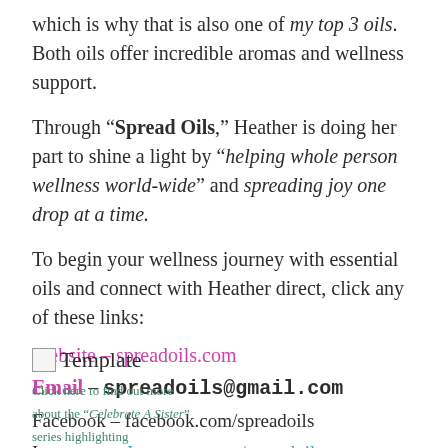which is why that is also one of my top 3 oils. Both oils offer incredible aromas and wellness support.
Through "Spread Oils," Heather is doing her part to shine a light by "helping whole person wellness world-wide" and spreading joy one drop at a time.
To begin your wellness journey with essential oils and connect with Heather direct, click any of these links:
Website – spreadoils.com
Email – spreadoils@gmail.com
Facebook – facebook.com/spreadoils
Instagram – Instagram.com/spreadoils
[Figure (other): Small image placeholder labeled Template]
Click here to find out more about the "Celebrate A Sister" series highlighting